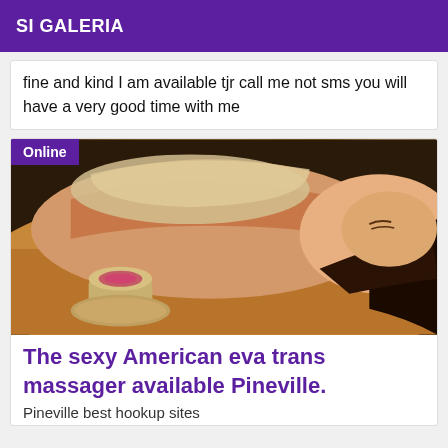SI GALERIA
fine and kind I am available tjr call me not sms you will have a very good time with me
[Figure (photo): A person lying face down on a massage table with warm towels, eyes closed, relaxed expression, with a small candle in the foreground. 'Online' badge in the top-left corner.]
The sexy American eva trans massager available Pineville.
Pineville best hookup sites